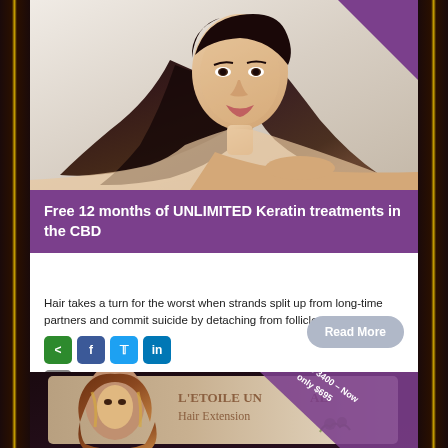[Figure (photo): Woman with long straight dark hair, posed looking at camera, hair spreads across surface. Purple triangle ribbon in top-right corner.]
Free 12 months of UNLIMITED Keratin treatments in the CBD
Hair takes a turn for the worst when strands split up from long-time partners and commit suicide by detaching from follicles.
[Figure (infographic): Bottom advertisement for L'ETOILE UNLIMITED Hair Extensions with woman with voluminous brown hair, and a diagonal purple banner showing 'Was 3400 - Now only $695']